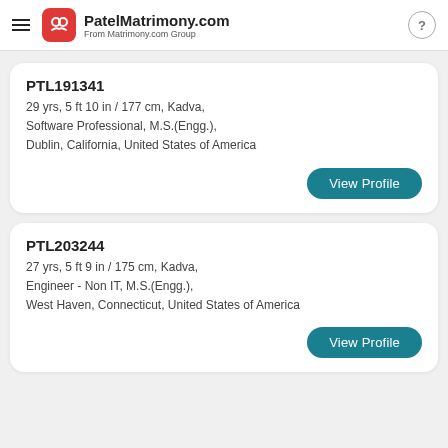PatelMatrimony.com From Matrimony.com Group
PTL191341
29 yrs, 5 ft 10 in / 177 cm, Kadva, Software Professional, M.S.(Engg.), Dublin, California, United States of America
View Profile
PTL203244
27 yrs, 5 ft 9 in / 175 cm, Kadva, Engineer - Non IT, M.S.(Engg.), West Haven, Connecticut, United States of America
View Profile